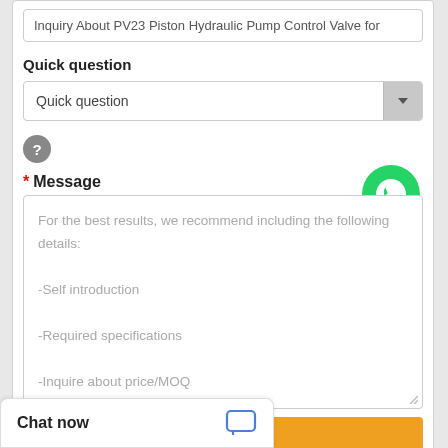Inquiry About PV23 Piston Hydraulic Pump Control Valve for
Quick question
Quick question
[Figure (screenshot): Help/question mark icon - grey circle with white question mark]
* Message
[Figure (logo): WhatsApp Online widget - green circle with phone icon and text WhatsApp Online]
For the best results, we recommend including the following details:
-Self introduction
-Required specifications
-Inquire about price/MOQ
Send Now
Chat now